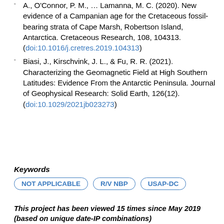A., O'Connor, P. M., … Lamanna, M. C. (2020). New evidence of a Campanian age for the Cretaceous fossil-bearing strata of Cape Marsh, Robertson Island, Antarctica. Cretaceous Research, 108, 104313. (doi:10.1016/j.cretres.2019.104313)
Biasi, J., Kirschvink, J. L., & Fu, R. R. (2021). Characterizing the Geomagnetic Field at High Southern Latitudes: Evidence From the Antarctic Peninsula. Journal of Geophysical Research: Solid Earth, 126(12). (doi:10.1029/2021jb023273)
Keywords
NOT APPLICABLE | R/V NBP | USAP-DC
This project has been viewed 15 times since May 2019 (based on unique date-IP combinations)